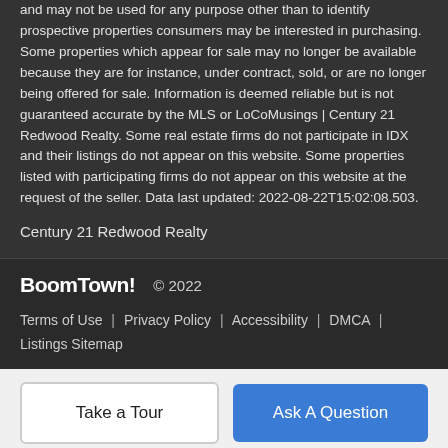and may not be used for any purpose other than to identify prospective properties consumers may be interested in purchasing. Some properties which appear for sale may no longer be available because they are for instance, under contract, sold, or are no longer being offered for sale. Information is deemed reliable but is not guaranteed accurate by the MLS or LoCoMusings | Century 21 Redwood Realty. Some real estate firms do not participate in IDX and their listings do not appear on this website. Some properties listed with participating firms do not appear on this website at the request of the seller. Data last updated: 2022-08-22T15:02:08.503.
Century 21 Redwood Realty
BoomTown! © 2022 | Terms of Use | Privacy Policy | Accessibility | DMCA | Listings Sitemap
Take a Tour | Ask A Question